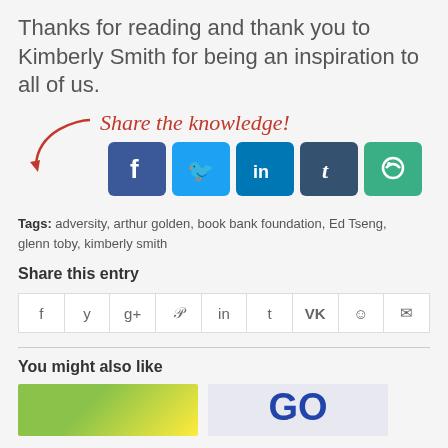Thanks for reading and thank you to Kimberly Smith for being an inspiration to all of us.
[Figure (illustration): Red cursive text 'Share the knowledge!' with a red curved arrow pointing left toward social media icons (Facebook, Twitter, LinkedIn, Tumblr, Springpad)]
Tags: adversity, arthur golden, book bank foundation, Ed Tseng, glenn toby, kimberly smith
Share this entry
[Figure (other): Social sharing button row with icons: f (Facebook), y (Twitter), g+ (Google+), P (Pinterest), in (LinkedIn), t (Tumblr), VK, reddit, email]
You might also like
[Figure (photo): Two thumbnail images side by side]